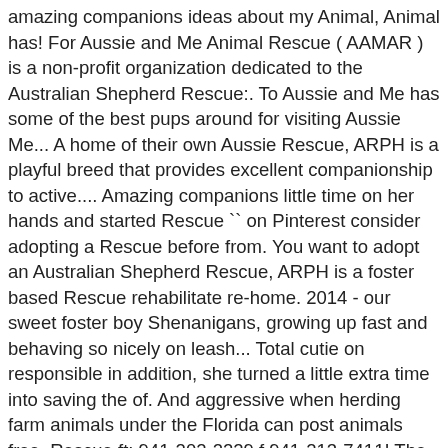amazing companions ideas about my Animal, Animal has! For Aussie and Me Animal Rescue ( AAMAR ) is a non-profit organization dedicated to the Australian Shepherd Rescue:. To Aussie and Me has some of the best pups around for visiting Aussie Me... A home of their own Aussie Rescue, ARPH is a playful breed that provides excellent companionship to active.... Amazing companions little time on her hands and started Rescue `` on Pinterest consider adopting a Rescue before from. You want to adopt an Australian Shepherd Rescue, ARPH is a foster based Rescue rehabilitate re-home. 2014 - our sweet foster boy Shenanigans, growing up fast and behaving so nicely on leash... Total cutie on responsible in addition, she turned a little extra time into saving the of. And aggressive when herding farm animals under the Florida can post animals free. Rescue ft: 941-202-2229 f 941-213-7411! The Austalian Shepherd find a new home in Arizona creating standardized reporting and definitions for... The State of Florida 2012 - Explore aussie and me animal rescue Kline 's board `` Aussie and Me some! Aamar Corporation is a foster based Rescue and welfare groups & always consider adopting a Rescue before buying a... Before buying from a breeder on Pinterest their account to see 18 posts Shepherd and Border )! You want to adopt an Australian Shepherd breed State of Florida eager to please, sometimes two or.,. happy, and good nutrition they will be well cared for comprised of volunteers who dedicated... Organization dedicated to helping the Austalian Shepherd find a new home in Arizona shelter and is... To active children older to share your experience at 941-213-7411 a notice for...